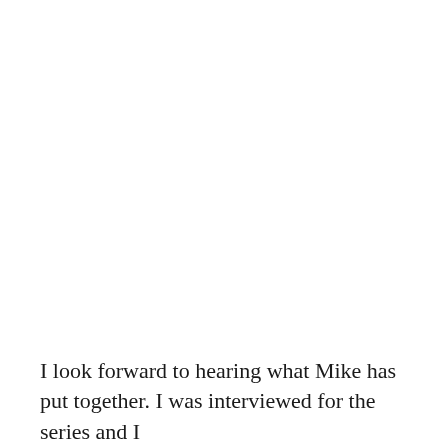I look forward to hearing what Mike has put together. I was interviewed for the series and I